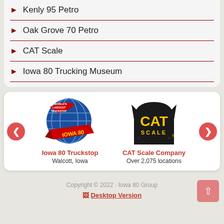Kenly 95 Petro
Oak Grove 70 Petro
CAT Scale
Iowa 80 Trucking Museum
[Figure (logo): Iowa 80 Truckstop logo - World's Largest Truckstop globe with red arrow banner]
Iowa 80 Truckstop
Walcott, Iowa
[Figure (logo): CAT Scale Company logo - black cat head silhouette with yellow CAT SCALE text]
CAT Scale Company
Over 2,075 locations
Copyright © 2022 · Iowa 80 Group
Desktop Version